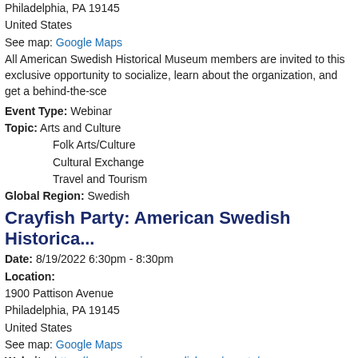Philadelphia, PA 19145
United States
See map: Google Maps
All American Swedish Historical Museum members are invited to this exclusive opportunity to socialize, learn about the organization, and get a behind-the-sce...
Event Type: Webinar
Topic: Arts and Culture
Folk Arts/Culture
Cultural Exchange
Travel and Tourism
Global Region: Swedish
Crayfish Party: American Swedish Historica...
Date: 8/19/2022 6:30pm - 8:30pm
Location:
1900 Pattison Avenue
Philadelphia, PA 19145
United States
See map: Google Maps
Website: https://www.americanswedish.org/events/c...
Get a taste of Swedish summer at our annual Crayfish Party!
Event Type: Community Events
Global Region: Swedish
Toddler Time: Summer in Sweden
Date: 8/19/2022 10:00am - 11:00am